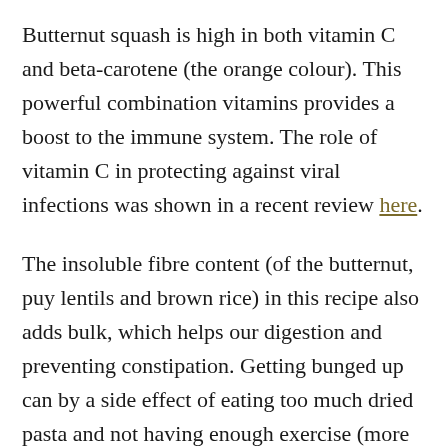Butternut squash is high in both vitamin C and beta-carotene (the orange colour). This powerful combination vitamins provides a boost to the immune system. The role of vitamin C in protecting against viral infections was shown in a recent review here.
The insoluble fibre content (of the butternut, puy lentils and brown rice) in this recipe also adds bulk, which helps our digestion and preventing constipation. Getting bunged up can by a side effect of eating too much dried pasta and not having enough exercise (more on that